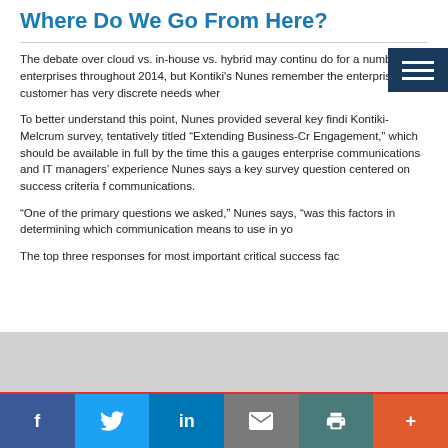Where Do We Go From Here?
The debate over cloud vs. in-house vs. hybrid may continue do for a number of enterprises throughout 2014, but Kontiki's Nunes remember the enterprise customer has very discrete needs wher
To better understand this point, Nunes provided several key findi Kontiki-Melcrum survey, tentatively titled “Extending Business-Cr Engagement,” which should be available in full by the time this a gauges enterprise communications and IT managers’ experience Nunes says a key survey question centered on success criteria f communications.
“One of the primary questions we asked,” Nunes says, “was this factors in determining which communication means to use in yo
The top three responses for most important critical success fac
f          in    ✉        +